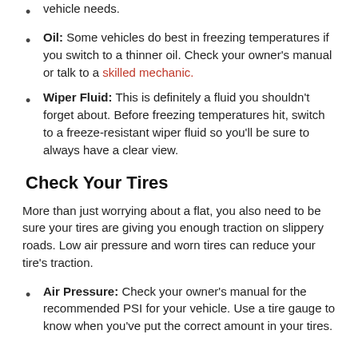vehicle needs.
Oil: Some vehicles do best in freezing temperatures if you switch to a thinner oil. Check your owner's manual or talk to a skilled mechanic.
Wiper Fluid: This is definitely a fluid you shouldn't forget about. Before freezing temperatures hit, switch to a freeze-resistant wiper fluid so you'll be sure to always have a clear view.
Check Your Tires
More than just worrying about a flat, you also need to be sure your tires are giving you enough traction on slippery roads. Low air pressure and worn tires can reduce your tire's traction.
Air Pressure: Check your owner's manual for the recommended PSI for your vehicle. Use a tire gauge to know when you've put the correct amount in your tires.